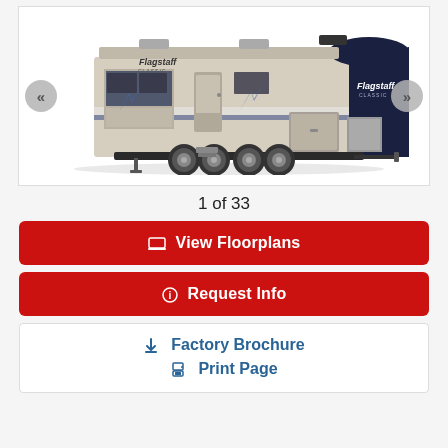[Figure (photo): Flagstaff Classic fifth-wheel RV trailer shown from the side, beige and navy blue exterior with slide-outs, navigation arrows on left and right sides of image]
1 of 33
🖥 View Floorplans
ℹ Request Info
⬇ Factory Brochure
🖨 Print Page